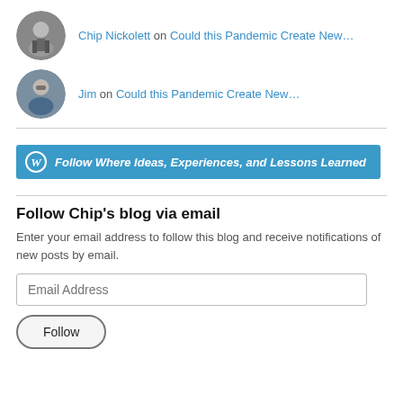[Figure (photo): Circular grayscale avatar photo of Chip Nickolett, man in suit and tie]
Chip Nickolett on Could this Pandemic Create New…
[Figure (photo): Circular color photo of Jim, man with glasses in jacket]
Jim on Could this Pandemic Create New…
[Figure (screenshot): WordPress Follow button: Follow Where Ideas, Experiences, and Lessons Learned]
Follow Chip's blog via email
Enter your email address to follow this blog and receive notifications of new posts by email.
Email Address
Follow